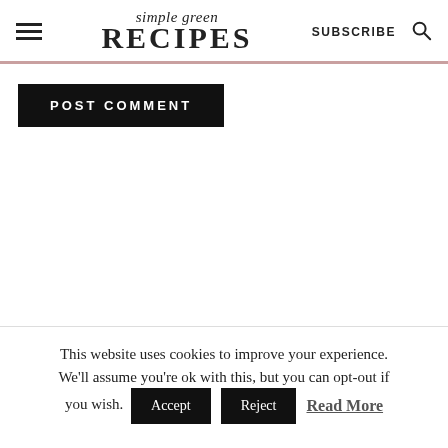simple green RECIPES | SUBSCRIBE
POST COMMENT
This website uses cookies to improve your experience. We'll assume you're ok with this, but you can opt-out if you wish. Accept Reject Read More